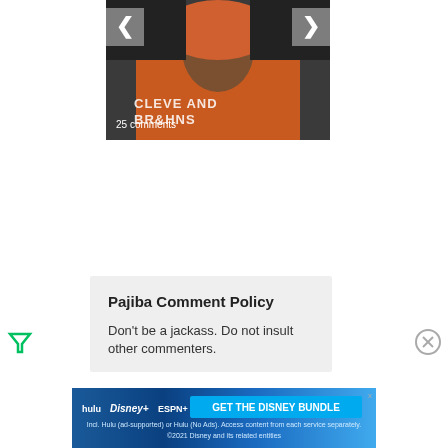[Figure (photo): A man wearing an orange Cleveland Browns hoodie, photographed during what appears to be a press conference. Navigation arrows are visible on left and right. Text '25 comments' overlaid at bottom left, with 'CLEVELAND BROWNS' text partially visible.]
25 comments
Pajiba Comment Policy
Don't be a jackass. Do not insult other commenters.
[Figure (infographic): Hulu Disney+ ESPN+ ad banner: GET THE DISNEY BUNDLE. Incl. Hulu (ad-supported) or Hulu (No Ads). Access content from each service separately. ©2021 Disney and its related entities]